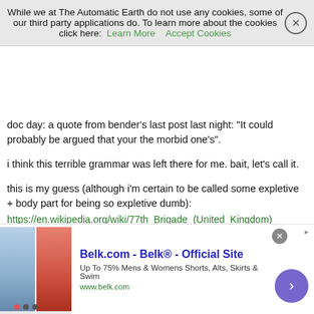While we at The Automatic Earth do not use any cookies, some of our third party applications do. To learn more about the cookies click here: Learn More   Accept Cookies
doc day: a quote from bender’s last post last night: “It could probably be argued that your the morbid one’s”.
i think this terrible grammar was left there for me. bait, let’s call it.
this is my guess (although i’m certain to be called some expletive + body part for being so expletive dumb):
https://en.wikipedia.org/wiki/77th_Brigade_(United_Kingdom)
The Brigade uses social media such as Twitter and Facebook as well as psyop techniques to influence populations and behaviour. David Miller, a professor of political sociology at the University of Bristol who studies British government propaganda and public relations, said that it is “involved in manipulation of the media including using fake online profiles”.[28][29][30]
In September 2019, Middle East Eye reported that Gordon
[Figure (infographic): Advertisement banner for Belk.com - Belk Official Site showing clothing images (blue and red skirts), text 'Up To 75% Mens & Womens Shorts, Alts, Skirts & Swim', www.belk.com, with a purple arrow button and close X button]